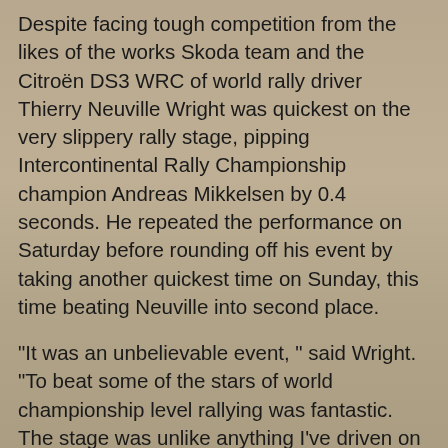Despite facing tough competition from the likes of the works Skoda team and the Citroën DS3 WRC of world rally driver Thierry Neuville Wright was quickest on the very slippery rally stage, pipping Intercontinental Rally Championship champion Andreas Mikkelsen by 0.4 seconds. He repeated the performance on Saturday before rounding off his event by taking another quickest time on Sunday, this time beating Neuville into second place.
“It was an unbelievable event, ” said Wright. “To beat some of the stars of world championship level rallying was fantastic. The stage was unlike anything I’ve driven on before, the chalky surface was almost like driving on ice.”
“Thanks to the team for getting Thurday’s damage repaired, they did a great job and without them I would not have been able to run the car in the event. Thanks also to the International Rally Drivers Club for inviting me to drive, I’m very proud to have been the quickest driver and hopefully I can return next year.”
Wright will return to action later this month on the Nicky Grist